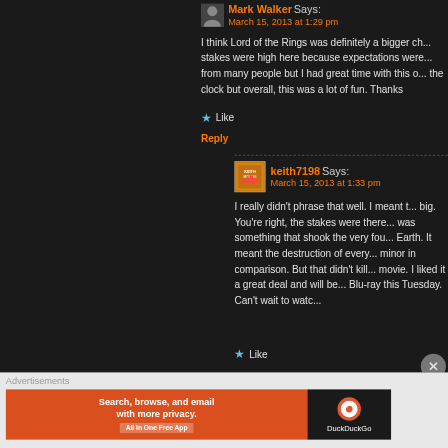Mark Walker Says: March 15, 2013 at 1:29 pm
I think Lord of the Rings was definitely a bigger ch... stakes were high here because expectations were... from many people but I had great time with this o... the clock but overall, this was a lot of fun. Thanks
Like
Reply
keith7198 Says: March 15, 2013 at 1:33 pm
I really didn't phrase that well. I meant t... big. You're right, the stakes were there... was something that shook the very fou... Earth. It meant the destruction of every... minor in comparison. But that didn't kill... movie. I liked it a great deal and will be... Blu-ray this Tuesday. Can't wait to watc...
Like
Advertisements
[Figure (infographic): DuckDuckGo advertisement banner: orange left side with text 'Search, browse, and email with more privacy. All in One Free App', dark right side with DuckDuckGo logo]